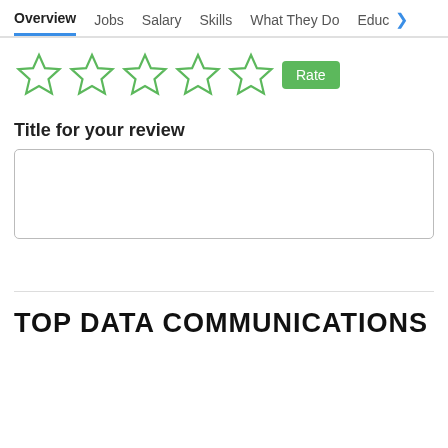Overview | Jobs | Salary | Skills | What They Do | Educa >
[Figure (other): Five empty star rating icons in green outline, followed by a green 'Rate' button]
Title for your review
[empty text input box]
TOP DATA COMMUNICATIONS